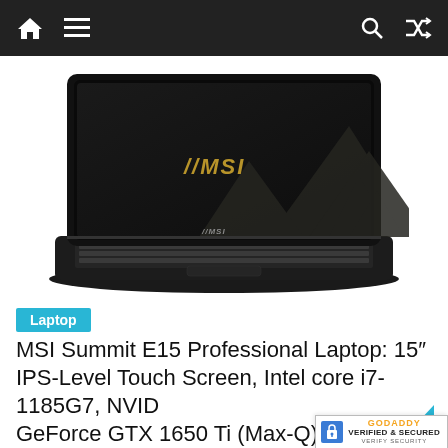Navigation bar with home, menu, search, and shuffle icons
[Figure (photo): MSI Summit E15 professional laptop shown open at an angle, black chassis with backlit keyboard, MSI logo on lid against a dark mountain landscape wallpaper]
Laptop
MSI Summit E15 Professional Laptop: 15" IPS-Level Touch Screen, Intel core i7-1185G7, NVIDIA GeForce GTX 1650 Ti (Max-Q) 16GB